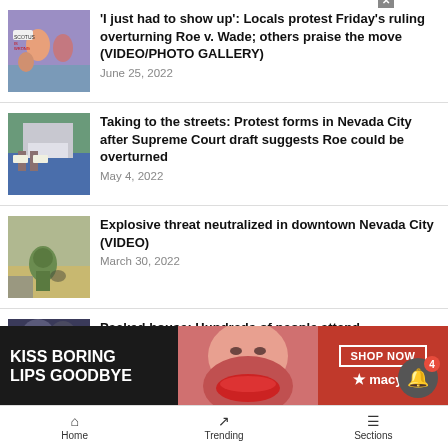[Figure (photo): Protesters at a rally, people holding signs outdoors]
'I just had to show up': Locals protest Friday's ruling overturning Roe v. Wade; others praise the move (VIDEO/PHOTO GALLERY)
June 25, 2022
[Figure (photo): Protesters with signs in front of a building, Supreme Court protest scene]
Taking to the streets: Protest forms in Nevada City after Supreme Court draft suggests Roe could be overturned
May 4, 2022
[Figure (photo): Bomb disposal technician in green suit crouching near a building]
Explosive threat neutralized in downtown Nevada City (VIDEO)
March 30, 2022
[Figure (photo): Partial image, dark crowd scene]
Packed house: Hundreds of people attend
[Figure (advertisement): Macy's lipstick advertisement - KISS BORING LIPS GOODBYE with SHOP NOW button]
Home | Trending | Sections